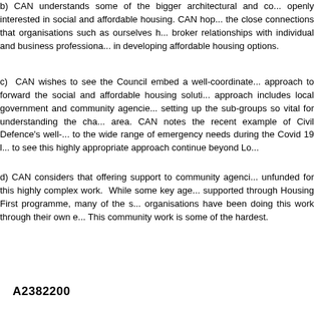b) CAN understands some of the bigger architectural and co... openly interested in social and affordable housing. CAN hop... the close connections that organisations such as ourselves h... broker relationships with individual and business professiona... in developing affordable housing options.
c)  CAN wishes to see the Council embed a well-coordinate... approach to forward the social and affordable housing soluti... approach includes local government and community agencie... setting up the sub-groups so vital for understanding the cha... area. CAN notes the recent example of Civil Defence's well-... to the wide range of emergency needs during the Covid 19 l... to see this highly appropriate approach continue beyond Lo...
d) CAN considers that offering support to community agenci... unfunded for this highly complex work.  While some key age... supported through Housing First programme, many of the s... organisations have been doing this work through their own e... This community work is some of the hardest.
A2382200